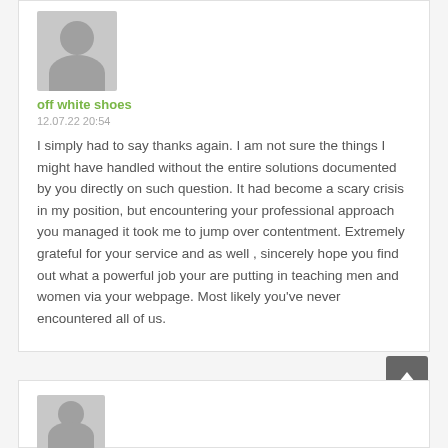[Figure (illustration): User avatar placeholder image - grey silhouette of a person on light grey background]
off white shoes
12.07.22 20:54
I simply had to say thanks again. I am not sure the things I might have handled without the entire solutions documented by you directly on such question. It had become a scary crisis in my position, but encountering your professional approach you managed it took me to jump over contentment. Extremely grateful for your service and as well , sincerely hope you find out what a powerful job your are putting in teaching men and women via your webpage. Most likely you've never encountered all of us.
[Figure (illustration): Second user avatar placeholder image - grey silhouette of a person on light grey background]